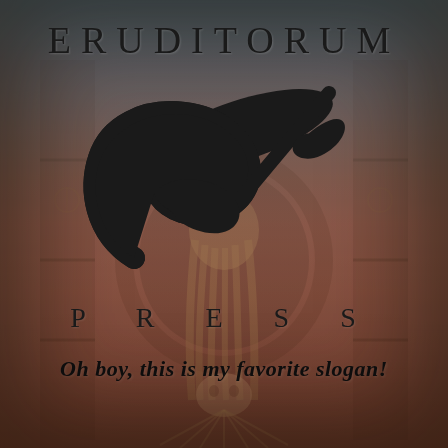ERUDITORUM
[Figure (logo): Eruditorum Press logo: a stylized cursive 'EP' monogram in black, featuring a large sweeping oval pen-nib shape and a decorative ribbon/quill element]
P R E S S
Oh boy, this is my favorite slogan!